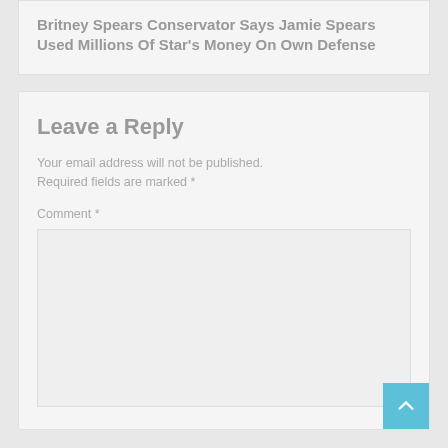Britney Spears Conservator Says Jamie Spears Used Millions Of Star's Money On Own Defense
Leave a Reply
Your email address will not be published. Required fields are marked *
Comment *